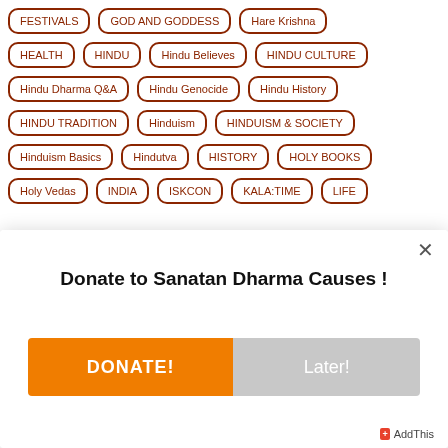FESTIVALS
GOD AND GODDESS
Hare Krishna
HEALTH
HINDU
Hindu Believes
HINDU CULTURE
Hindu Dharma Q&A
Hindu Genocide
Hindu History
HINDU TRADITION
Hinduism
HINDUISM & SOCIETY
Hinduism Basics
Hindutva
HISTORY
HOLY BOOKS
Holy Vedas
INDIA
ISKCON
KALA:TIME
LIFE
Donate to Sanatan Dharma Causes !
DONATE!
Later!